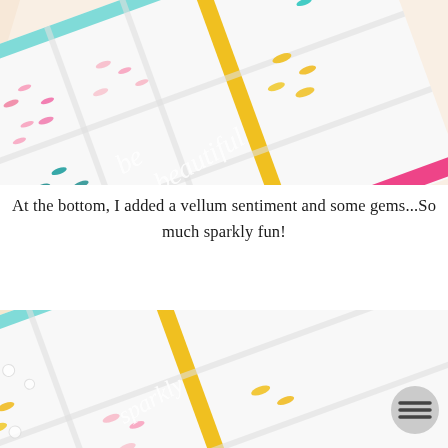[Figure (photo): Close-up photo of a colorful sequin storage box tilted at a diagonal angle. The compartmentalized box contains pink, teal/green, yellow, and light pink sequins in separate sections, with a white vellum sentiment decoration overlaid on top. The box is bordered with teal, yellow, and pink washi tape or colored borders.]
At the bottom, I added a vellum sentiment and some gems...So much sparkly fun!
[Figure (photo): Close-up photo of a colorful sequin storage box tilted at a diagonal angle, viewed from a different angle showing yellow, pink, teal, coral/red sequins in compartments with a white vellum sentiment decoration. The box has green, yellow, and pink colored border strips. A circular gray menu button with three horizontal lines is visible in the lower right corner.]